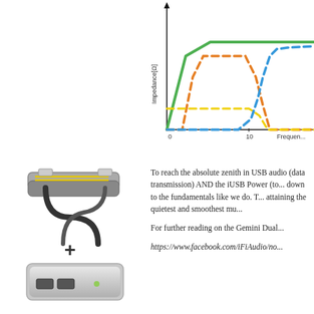[Figure (continuous-plot): Impedance vs Frequency chart (partial, cropped). Y-axis labeled 'Impedance[Ω]', X-axis labeled 'Frequency' with tick at 0 and 10. Three curves: green solid line at high impedance, orange dashed bell-shaped curve, blue dashed curve rising on right, yellow dashed flat line at low level.]
[Figure (photo): Photo of a USB cable (Gemini dual-headed USB cable) above a '+' sign and below it a silver/aluminum USB power device (iUSB Power), showing two products combined.]
To reach the absolute zenith in USB audio (data transmission) AND the iUSB Power (to...) down to the fundamentals like we do. T... attaining the quietest and smoothest mu...
For further reading on the Gemini Dual...
https://www.facebook.com/iFiAudio/no...